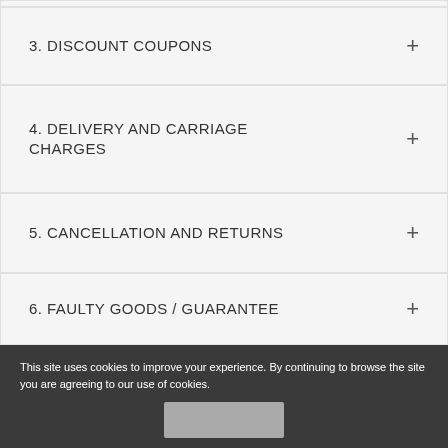3. DISCOUNT COUPONS
4. DELIVERY AND CARRIAGE CHARGES
5. CANCELLATION AND RETURNS
6. FAULTY GOODS / GUARANTEE
This site uses cookies to improve your experience. By continuing to browse the site you are agreeing to our use of cookies.